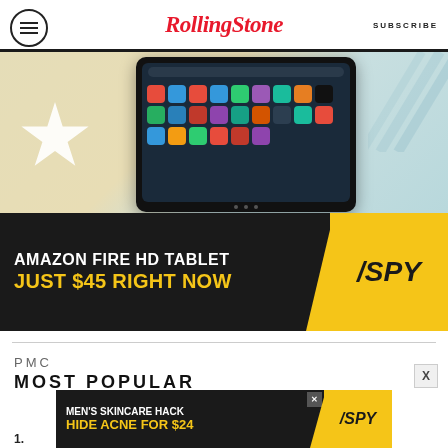Rolling Stone | SUBSCRIBE
[Figure (photo): Amazon Fire HD Tablet product photo showing tablet screen with app icons, on a colorful background with star and stripe decorations]
[Figure (infographic): Advertisement banner: AMAZON FIRE HD TABLET JUST $45 RIGHT NOW — SPY logo on yellow background]
PMC
MOST POPULAR
[Figure (infographic): Bottom advertisement: MEN'S SKINCARE HACK HIDE ACNE FOR $24 — SPY logo on yellow background]